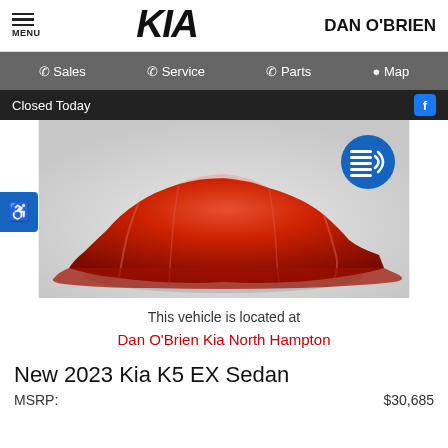MENU | KIA | DAN O'BRIEN
Sales | Service | Parts | Map
Closed Today
[Figure (photo): Car covered with red drape/cloth, with a blue circular audio accessibility button in upper right corner]
This vehicle is located at Dan O'Brien Kia North Hampton
New 2023 Kia K5 EX Sedan
MSRP: $30,685